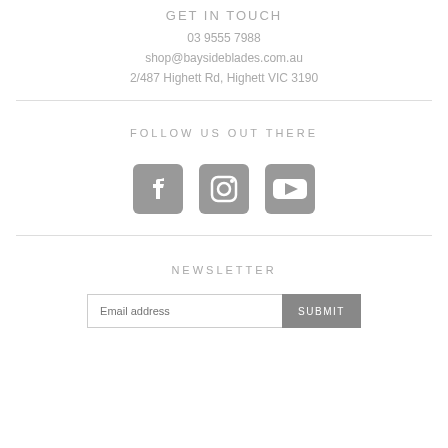GET IN TOUCH
03 9555 7988
shop@baysideblades.com.au
2/487 Highett Rd, Highett VIC 3190
FOLLOW US OUT THERE
[Figure (other): Three social media icons: Facebook, Instagram, YouTube, in gray]
NEWSLETTER
Email address [input field] SUBMIT [button]